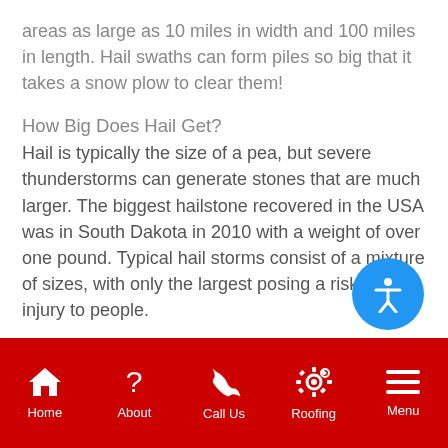areas as large as 10 miles in width and 100 miles in length. Hail swaths can form piles so big that it takes a snow plow to clear them!
How Big Does Hail Get?
Hail is typically the size of a pea, but severe thunderstorms can generate stones that are much larger. The biggest hailstone recovered in the USA was in South Dakota in 2010 with a weight of over one pound. Typical hail storms consist of a mixture of sizes, with only the largest posing a risk of injury to people.
Call the New Siding Naperville, IL exp… Joseph-James Enterprises today to sche… a free
Home  About  Call Us  Roofing  Menu